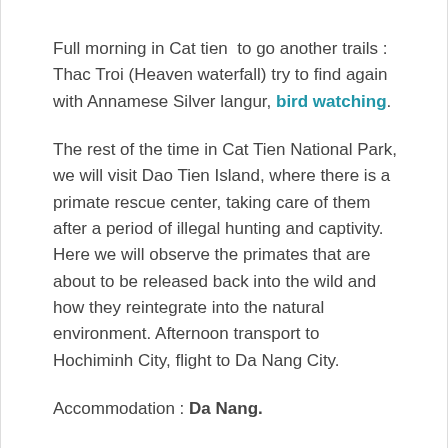Full morning in Cat tien  to go another trails : Thac Troi (Heaven waterfall) try to find again with Annamese Silver langur, bird watching.
The rest of the time in Cat Tien National Park, we will visit Dao Tien Island, where there is a primate rescue center, taking care of them after a period of illegal hunting and captivity. Here we will observe the primates that are about to be released back into the wild and how they reintegrate into the natural environment. Afternoon transport to Hochiminh City, flight to Da Nang City.
Accommodation : Da Nang.